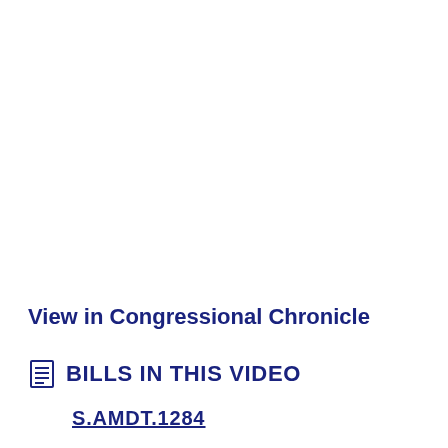View in Congressional Chronicle
BILLS IN THIS VIDEO
S.AMDT.1284